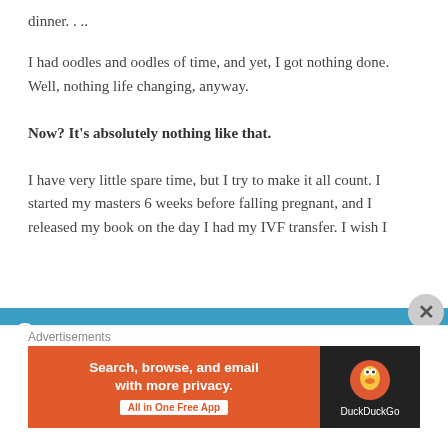dinner. . ..
I had oodles and oodles of time, and yet, I got nothing done. Well, nothing life changing, anyway.
Now? It’s absolutely nothing like that.
I have very little spare time, but I try to make it all count. I started my masters 6 weeks before falling pregnant, and I released my book on the day I had my IVF transfer. I wish I
This is an example of a sitewide notice - you can change or remove this text in the Customizer under "Store Notice"
Dismiss
Advertisements
[Figure (other): DuckDuckGo advertisement banner: 'Search, browse, and email with more privacy. All in One Free App' with DuckDuckGo logo on dark background]